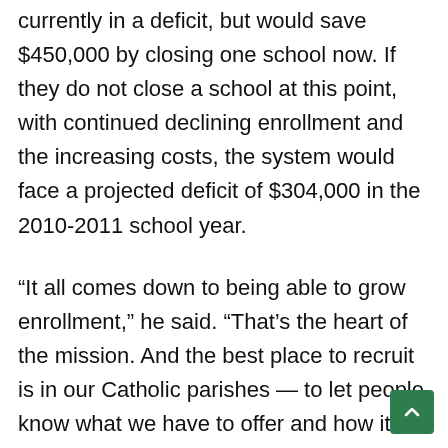currently in a deficit, but would save $450,000 by closing one school now. If they do not close a school at this point, with continued declining enrollment and the increasing costs, the system would face a projected deficit of $304,000 in the 2010-2011 school year.
“It all comes down to being able to grow enrollment,” he said. “That’s the heart of the mission. And the best place to recruit is in our Catholic parishes — to let people know what we have to offer and how it’s a benefit to kids.”
He added that, since September, the system has seen an increase in enrollment of 17 students.